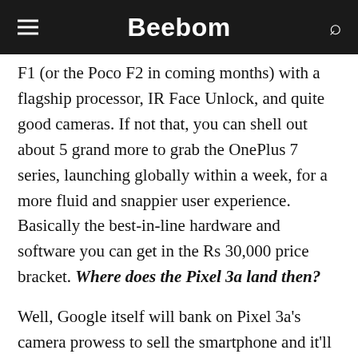Beebom
F1 (or the Poco F2 in coming months) with a flagship processor, IR Face Unlock, and quite good cameras. If not that, you can shell out about 5 grand more to grab the OnePlus 7 series, launching globally within a week, for a more fluid and snappier user experience. Basically the best-in-line hardware and software you can get in the Rs 30,000 price bracket. Where does the Pixel 3a land then?
Well, Google itself will bank on Pixel 3a's camera prowess to sell the smartphone and it'll certainly find a niche in users who've been longing an affordable Pixel experience. I mean, they get one of the best camera